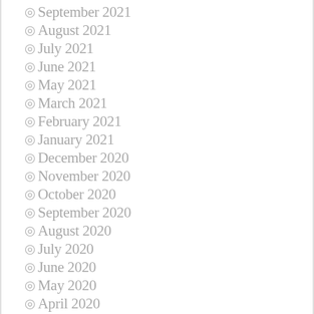September 2021
August 2021
July 2021
June 2021
May 2021
March 2021
February 2021
January 2021
December 2020
November 2020
October 2020
September 2020
August 2020
July 2020
June 2020
May 2020
April 2020
March 2020